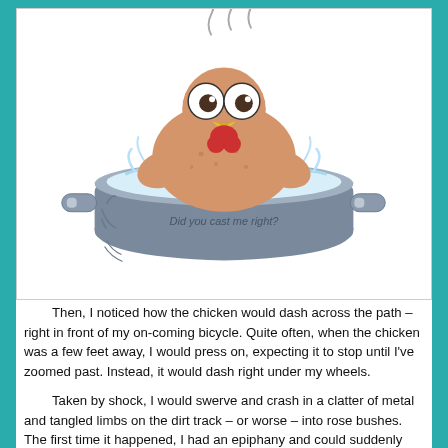[Figure (illustration): Cartoon illustration of a wide-eyed chicken or turkey sitting in a large cooking pot filled with boiling water, with steam rising above. The pot has text on it reading 'Did you cast me right?']
Then, I noticed how the chicken would dash across the path – right in front of my on-coming bicycle. Quite often, when the chicken was a few feet away, I would press on, expecting it to stop until I've zoomed past. Instead, it would dash right under my wheels.
Taken by shock, I would swerve and crash in a clatter of metal and tangled limbs on the dirt track – or worse – into rose bushes.  The first time it happened, I had an epiphany and could suddenly speak in tongues.